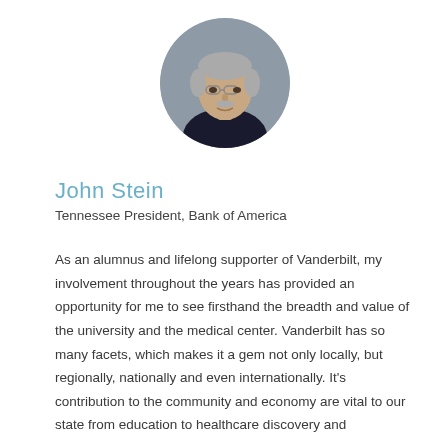[Figure (photo): Circular headshot photo of John Stein, a man with grey hair and glasses wearing a dark suit]
John Stein
Tennessee President, Bank of America
As an alumnus and lifelong supporter of Vanderbilt, my involvement throughout the years has provided an opportunity for me to see firsthand the breadth and value of the university and the medical center. Vanderbilt has so many facets, which makes it a gem not only locally, but regionally, nationally and even internationally. It's contribution to the community and economy are vital to our state from education to healthcare discovery and